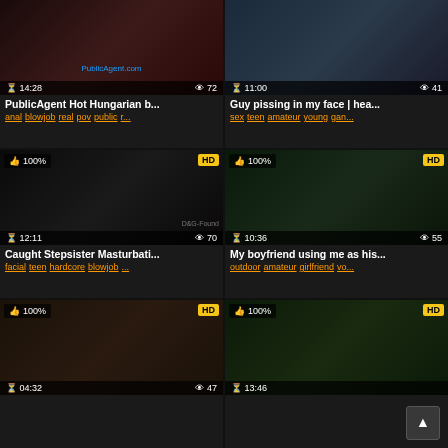[Figure (screenshot): Video thumbnail grid - adult content website with 6 video thumbnails in 2 columns, 3 rows]
PublicAgent Hot Hungarian b...
anal blowjob real pov public r...
Guy pissing in my face | hea...
sex teen amateur young gan...
Caught Stepsister Masturbati...
facial teen hardcore blowjob ...
My boyfriend using me as his...
outdoor amateur girlfriend vo...